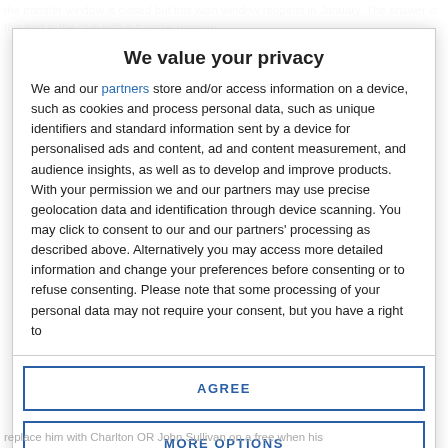the transfer window is closed but this wish window reopens in January. The answer is this end is the club with a transfer window
We value your privacy
We and our partners store and/or access information on a device, such as cookies and process personal data, such as unique identifiers and standard information sent by a device for personalised ads and content, ad and content measurement, and audience insights, as well as to develop and improve products. With your permission we and our partners may use precise geolocation data and identification through device scanning. You may click to consent to our and our partners' processing as described above. Alternatively you may access more detailed information and change your preferences before consenting or to refuse consenting. Please note that some processing of your personal data may not require your consent, but you have a right to
AGREE
MORE OPTIONS
replace him with Charlton OR John Sullivan on a free when his